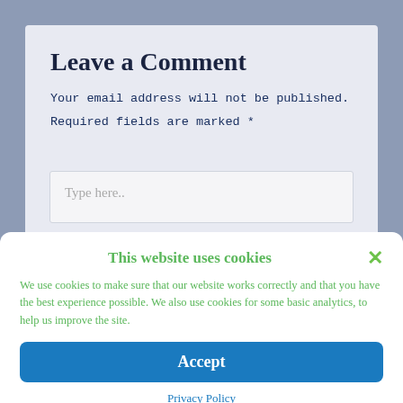Leave a Comment
Your email address will not be published.
Required fields are marked *
Type here..
This website uses cookies
We use cookies to make sure that our website works correctly and that you have the best experience possible. We also use cookies for some basic analytics, to help us improve the site.
Accept
Privacy Policy